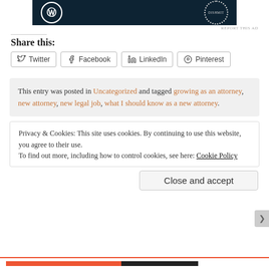[Figure (screenshot): Dark navy ad banner with WordPress logo and a circular dotted badge]
REPORT THIS AD
Share this:
Twitter  Facebook  LinkedIn  Pinterest
This entry was posted in Uncategorized and tagged growing as an attorney, new attorney, new legal job, what I should know as a new attorney.
Privacy & Cookies: This site uses cookies. By continuing to use this website, you agree to their use.
To find out more, including how to control cookies, see here: Cookie Policy
Close and accept